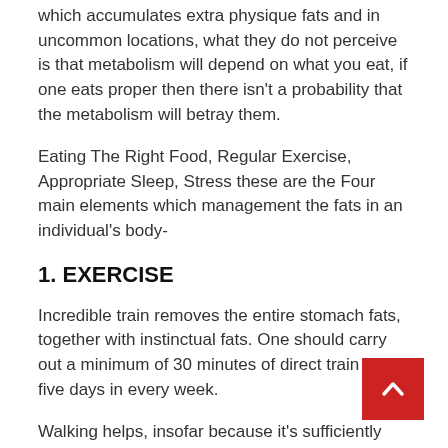which accumulates extra physique fats and in uncommon locations, what they do not perceive is that metabolism will depend on what you eat, if one eats proper then there isn't a probability that the metabolism will betray them.
Eating The Right Food, Regular Exercise, Appropriate Sleep, Stress these are the Four main elements which management the fats in an individual's body-
1. EXERCISE
Incredible train removes the entire stomach fats, together with instinctual fats. One should carry out a minimum of 30 minutes of direct train for five days in every week.
Walking helps, insofar because it's sufficiently ener that you just work up a sweat and inhale tougher, along with your coronary heart price faster than regular.